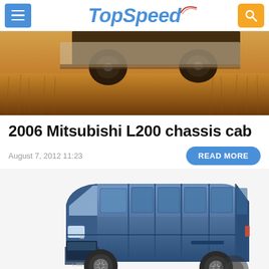TopSpeed
[Figure (photo): Hero banner showing the undercarriage and wheel of a vehicle in a wheat field background]
2006 Mitsubishi L200 chassis cab
August 7, 2012 11:23
READ MORE
[Figure (photo): Blue Mitsubishi L300 van shown from the side, a long wheelbase passenger van with multiple windows]